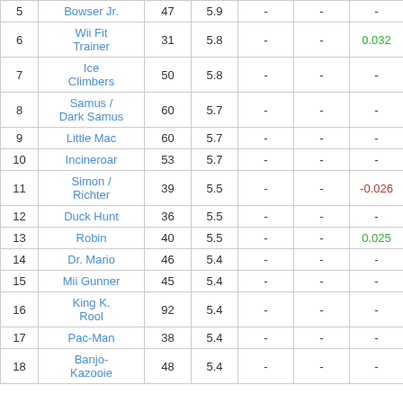| # | Character | Votes | Avg | Col5 | Col6 | Diff |
| --- | --- | --- | --- | --- | --- | --- |
| 5 | Bowser Jr. | 47 | 5.9 | - | - | - |
| 6 | Wii Fit Trainer | 31 | 5.8 | - | - | 0.032 |
| 7 | Ice Climbers | 50 | 5.8 | - | - | - |
| 8 | Samus / Dark Samus | 60 | 5.7 | - | - | - |
| 9 | Little Mac | 60 | 5.7 | - | - | - |
| 10 | Incineroar | 53 | 5.7 | - | - | - |
| 11 | Simon / Richter | 39 | 5.5 | - | - | -0.026 |
| 12 | Duck Hunt | 36 | 5.5 | - | - | - |
| 13 | Robin | 40 | 5.5 | - | - | 0.025 |
| 14 | Dr. Mario | 46 | 5.4 | - | - | - |
| 15 | Mii Gunner | 45 | 5.4 | - | - | - |
| 16 | King K. Rool | 92 | 5.4 | - | - | - |
| 17 | Pac-Man | 38 | 5.4 | - | - | - |
| 18 | Banjo-Kazooie | 48 | 5.4 | - | - | - |